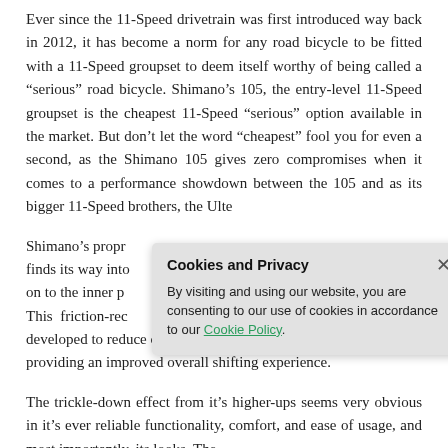Ever since the 11-Speed drivetrain was first introduced way back in 2012, it has become a norm for any road bicycle to be fitted with a 11-Speed groupset to deem itself worthy of being called a “serious” road bicycle. Shimano’s 105, the entry-level 11-Speed groupset is the cheapest 11-Speed “serious” option available in the market. But don’t let the word “cheapest” fool you for even a second, as the Shimano 105 gives zero compromises when it comes to a performance showdown between the 105 and as its bigger 11-Speed brothers, the Ulte…
Shimano’s propr… finds its way into… on to the inner p… This friction-rec… developed to reduce overall effort and speed up shifting, providing an improved overall shifting experience.
The trickle-down effect from it’s higher-ups seems very obvious in it’s ever reliable functionality, comfort, and ease of usage, and most importantly, its looks. The
[Figure (screenshot): Cookie and Privacy popup dialog overlay on the page. Title: 'Cookies and Privacy' with an X close button. Body text: 'By visiting and using our website, you are consenting to our use of cookies in accordance to our Cookie Policy.' The phrase 'Cookie Policy' is a green hyperlink.]